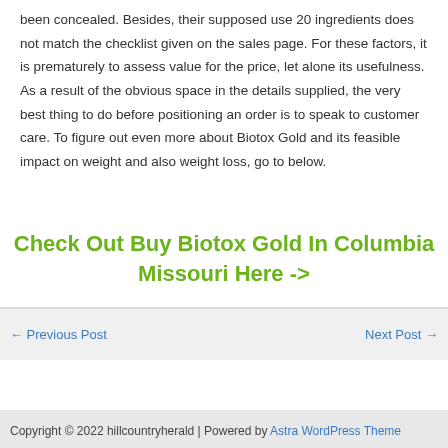been concealed. Besides, their supposed use 20 ingredients does not match the checklist given on the sales page. For these factors, it is prematurely to assess value for the price, let alone its usefulness. As a result of the obvious space in the details supplied, the very best thing to do before positioning an order is to speak to customer care. To figure out even more about Biotox Gold and its feasible impact on weight and also weight loss, go to below.
Check Out Buy Biotox Gold In Columbia Missouri Here ->
← Previous Post
Next Post →
Copyright © 2022 hillcountryherald | Powered by Astra WordPress Theme